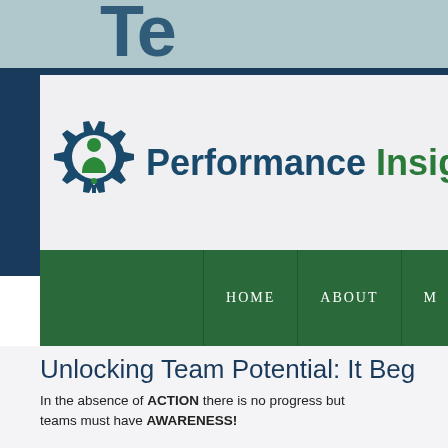[Figure (logo): Performance Insights logo with gear and person icon, text reading Performance Insights]
HOME   ABOUT   M
Unlocking Team Potential: It Beg
In the absence of ACTION there is no progress but teams must have AWARENESS!
Several of our programs include diagnostic tools to hindering your teams from their ultimate success. G understanding your audience and delivering custom
The Team Academy is founded on the Performance